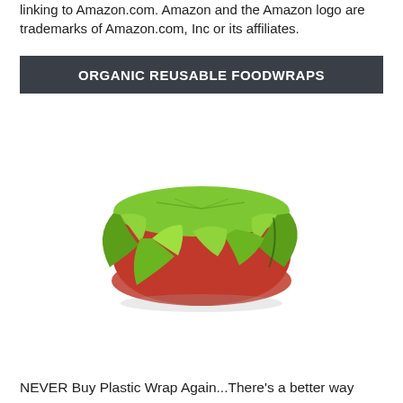linking to Amazon.com. Amazon and the Amazon logo are trademarks of Amazon.com, Inc or its affiliates.
ORGANIC REUSABLE FOODWRAPS
[Figure (photo): A red bowl covered with a green organic beeswax food wrap, resembling a large leaf draped over the top of the bowl, on a white background.]
NEVER Buy Plastic Wrap Again...There's a better way